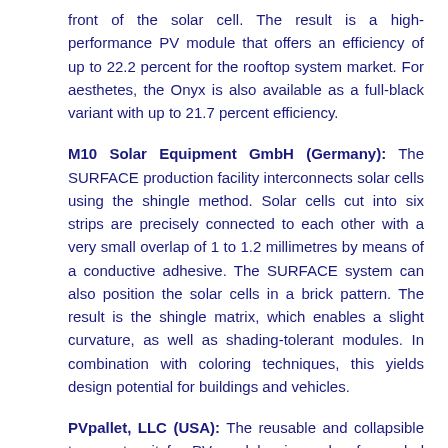front of the solar cell. The result is a high-performance PV module that offers an efficiency of up to 22.2 percent for the rooftop system market. For aesthetes, the Onyx is also available as a full-black variant with up to 21.7 percent efficiency.
M10 Solar Equipment GmbH (Germany): The SURFACE production facility interconnects solar cells using the shingle method. Solar cells cut into six strips are precisely connected to each other with a very small overlap of 1 to 1.2 millimetres by means of a conductive adhesive. The SURFACE system can also position the solar cells in a brick pattern. The result is the shingle matrix, which enables a slight curvature, as well as shading-tolerant modules. In combination with coloring techniques, this yields design potential for buildings and vehicles.
PVpallet, LLC (USA): The reusable and collapsible transport unit for PV modules is made of recycled plastic. These pallets are created from about 1,000 waste milk packs and their sizes can be changed. They allow modules of different sizes to be secured for transport so that damage is avoided. The pallets filled with modules can be stacked to save space. This eliminates the need for environmentally damaging disposable packaging for modules and